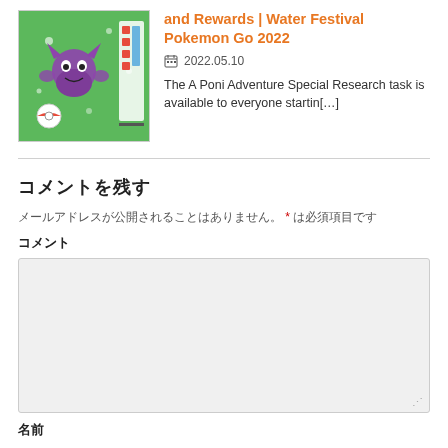and Rewards | Water Festival Pokemon Go 2022
2022.05.10
The A Poni Adventure Special Research task is available to everyone startin[…]
コメントを残す
メールアドレスが公開されることはありません。 * は必須項目です
コメント
[Figure (screenshot): Comment textarea input box, light gray background]
名前